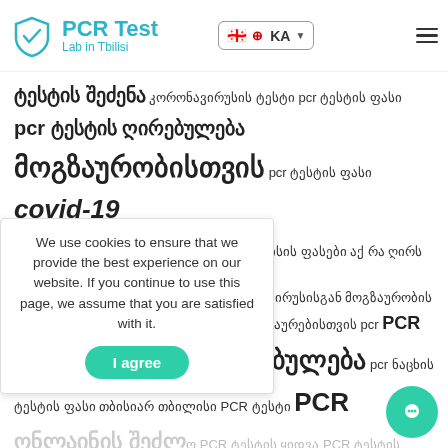PCR Test Lab in Tbilisi — KA language selector, hamburger menu
ტესტის შეძენა კორონავირუსის ტესტი pcr ტესტის ფასი pcr ტესტის ღირებულება მოგზაურობისთვის pcr ტესტის ფასი covid-19 covid 19 იპოვეთ PCR ტესტი თბილისის ფასები აქ რა ღირს PCR ტესტი? როგორ დავიცვათ თავი კორონავირუსისგან მოგზაურობის დროს ინფორმაცია საერთაშორისო მოგზაურებისთვის pcr PCR კლინიკა თბილისში PCR ღირებულება pcr ნაცხის ტესტის ფასი თბისიარ თბილისი PCR ტესტი PCR ონლაინის შეძლო PCR ტესტის ყიდვა PCR ტესტის არარფასური ბისიარ კოვიდს ტესტირება კოვიდ 19 ის პრევენციისათვის PCR ტი თბილისში ფასი PCR ტესტ ყველა ბათი ჩემთან ახლოს ფასი PCR ული ღირებულება PCR ტესტის ფასები PCR
We use cookies to ensure that we provide the best experience on our website. If you continue to use this page, we assume that you are satisfied with it.
I agree